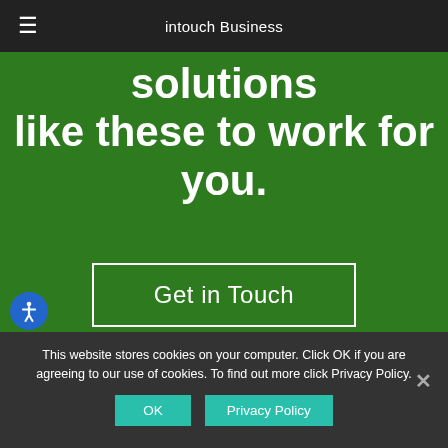intouch Business
solutions
like these to work for you.
Get in Touch
This website stores cookies on your computer. Click OK if you are agreeing to our use of cookies. To find out more click Privacy Policy.